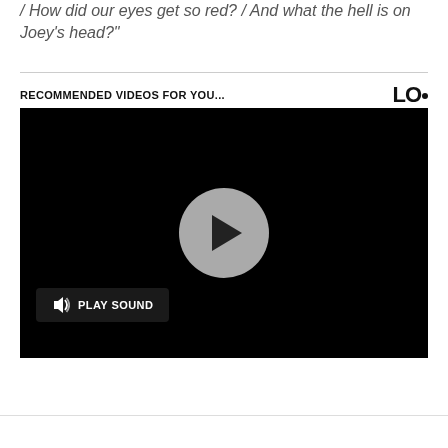/ How did our eyes get so red? / And what the hell is on Joey's head?"
RECOMMENDED VIDEOS FOR YOU...
[Figure (screenshot): Embedded video player with black background, a play button circle in the center, and a 'PLAY SOUND' button with speaker icon in the bottom-left corner.]